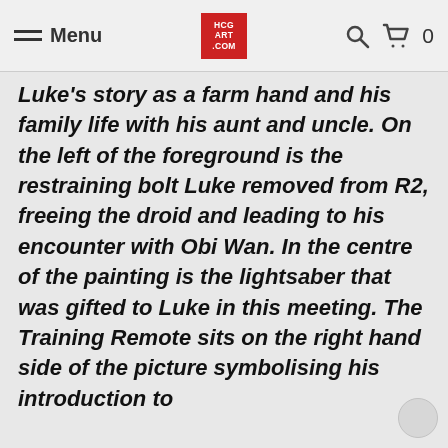Menu | HCGART.COM | 🔍 🛒 0
Luke's story as a farm hand and his family life with his aunt and uncle. On the left of the foreground is the restraining bolt Luke removed from R2, freeing the droid and leading to his encounter with Obi Wan. In the centre of the painting is the lightsaber that was gifted to Luke in this meeting. The Training Remote sits on the right hand side of the picture symbolising his introduction to the use of this mesmerising...